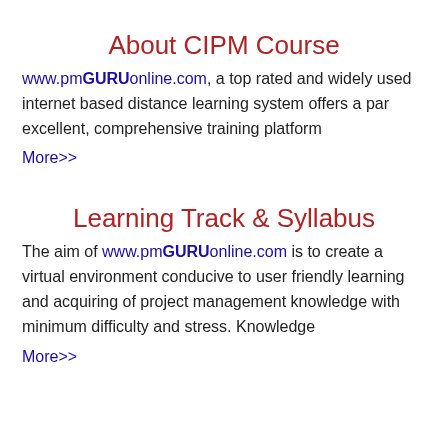About CIPM Course
www.pmGURUonline.com, a top rated and widely used internet based distance learning system offers a par excellent, comprehensive training platform
More>>
Learning Track & Syllabus
The aim of www.pmGURUonline.com is to create a virtual environment conducive to user friendly learning and acquiring of project management knowledge with minimum difficulty and stress. Knowledge
More>>